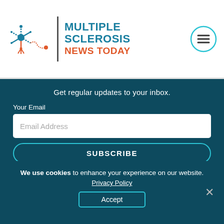[Figure (logo): Multiple Sclerosis News Today logo with snowflake/nerve cell icon and hamburger menu button]
Get regular updates to your inbox.
Your Email
Email Address
SUBSCRIBE
[Figure (logo): BioNews logo with colorful circular icon and BIONEWS text]
We use cookies to enhance your experience on our website.
Privacy Policy
Accept